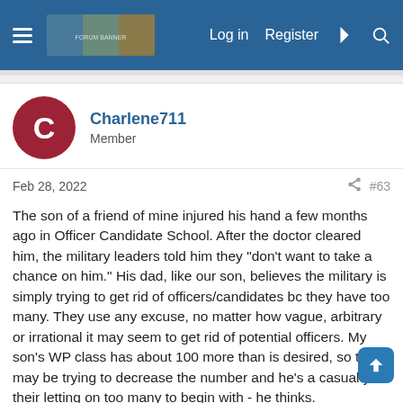Log in Register
Charlene711
Member
Feb 28, 2022  #63
The son of a friend of mine injured his hand a few months ago in Officer Candidate School. After the doctor cleared him, the military leaders told him they "don't want to take a chance on him." His dad, like our son, believes the military is simply trying to get rid of officers/candidates bc they have too many. They use any excuse, no matter how vague, arbitrary or irrational it may seem to get rid of potential officers. My son's WP class has about 100 more than is desired, so they may be trying to decrease the number and he's a casualty of their letting on too many to begin with - he thinks.
bookreader